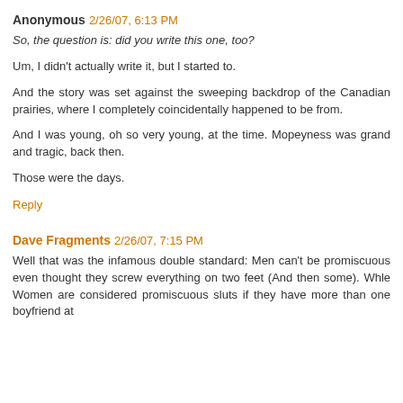Anonymous 2/26/07, 6:13 PM
So, the question is: did you write this one, too?
Um, I didn't actually write it, but I started to.
And the story was set against the sweeping backdrop of the Canadian prairies, where I completely coincidentally happened to be from.
And I was young, oh so very young, at the time. Mopeyness was grand and tragic, back then.
Those were the days.
Reply
Dave Fragments 2/26/07, 7:15 PM
Well that was the infamous double standard: Men can't be promiscuous even thought they screw everything on two feet (And then some). Whle Women are considered promiscuous sluts if they have more than one boyfriend at